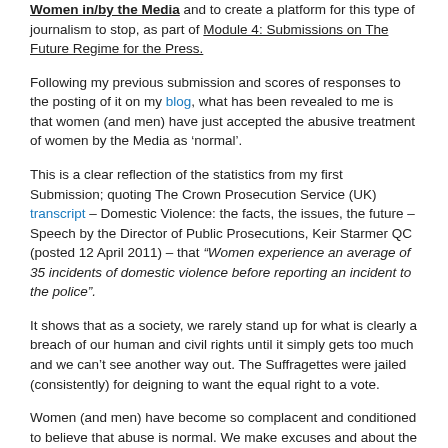Women in/by the Media and to create a platform for this type of journalism to stop, as part of Module 4: Submissions on The Future Regime for the Press.
Following my previous submission and scores of responses to the posting of it on my blog, what has been revealed to me is that women (and men) have just accepted the abusive treatment of women by the Media as ‘normal’.
This is a clear reflection of the statistics from my first Submission; quoting The Crown Prosecution Service (UK) transcript – Domestic Violence: the facts, the issues, the future – Speech by the Director of Public Prosecutions, Keir Starmer QC (posted 12 April 2011) – that “Women experience an average of 35 incidents of domestic violence before reporting an incident to the police”.
It shows that as a society, we rarely stand up for what is clearly a breach of our human and civil rights until it simply gets too much and we can’t see another way out. The Suffragettes were jailed (consistently) for deigning to want the equal right to a vote.
Women (and men) have become so complacent and conditioned to believe that abuse is normal. We make excuses and about the facts and